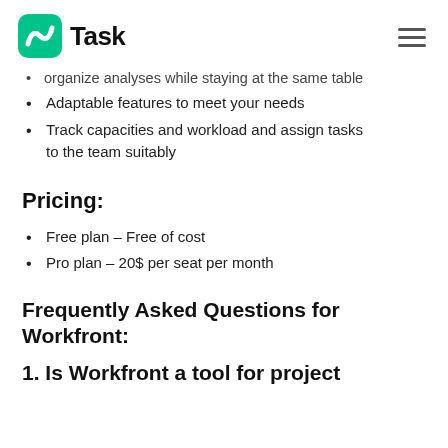nTask
organize analyses while staying at the same table
Adaptable features to meet your needs
Track capacities and workload and assign tasks to the team suitably
Pricing:
Free plan – Free of cost
Pro plan – 20$ per seat per month
Frequently Asked Questions for Workfront:
1. Is Workfront a tool for project